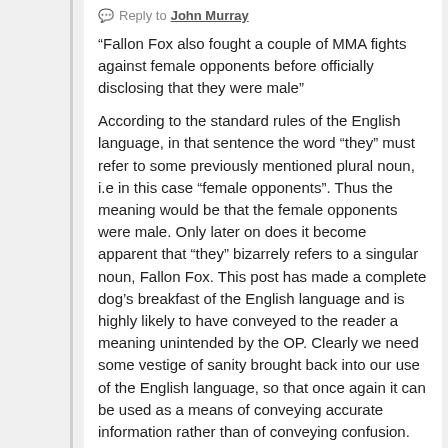Reply to John Murray
“Fallon Fox also fought a couple of MMA fights against female opponents before officially disclosing that they were male”
According to the standard rules of the English language, in that sentence the word “they” must refer to some previously mentioned plural noun, i.e in this case “female opponents”. Thus the meaning would be that the female opponents were male. Only later on does it become apparent that “they” bizarrely refers to a singular noun, Fallon Fox. This post has made a complete dog’s breakfast of the English language and is highly likely to have conveyed to the reader a meaning unintended by the OP. Clearly we need some vestige of sanity brought back into our use of the English language, so that once again it can be used as a means of conveying accurate information rather than of conveying confusion.